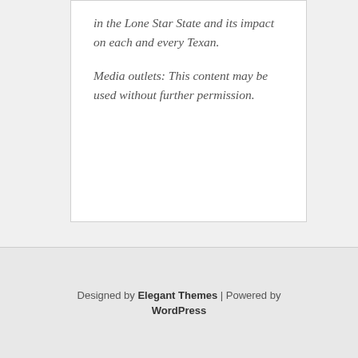in the Lone Star State and its impact on each and every Texan.
Media outlets: This content may be used without further permission.
Designed by Elegant Themes | Powered by WordPress